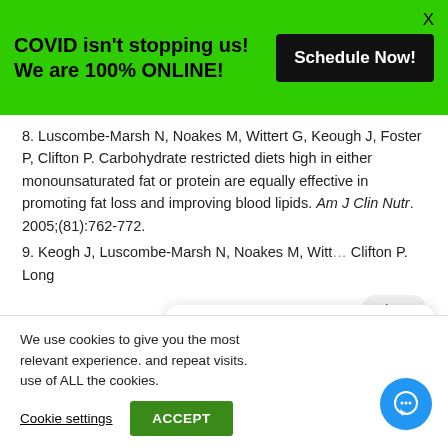COVID isn't stopping us! We are 100% ONLINE!
8. Luscombe-Marsh N, Noakes M, Wittert G, Keough J, Foster P, Clifton P. Carbohydrate restricted diets high in either monounsaturated fat or protein are equally effective in promoting fat loss and improving blood lipids. Am J Clin Nutr. 2005;(81):762-772.
9. Keogh J, Luscombe-Marsh N, Noakes M, Witte... Clifton P. Long...
We use cookies to... relevant experience... and repeat visits.... use of ALL the cookies.
Cookie settings
ACCEPT
Hi there, have a question? Text us here.